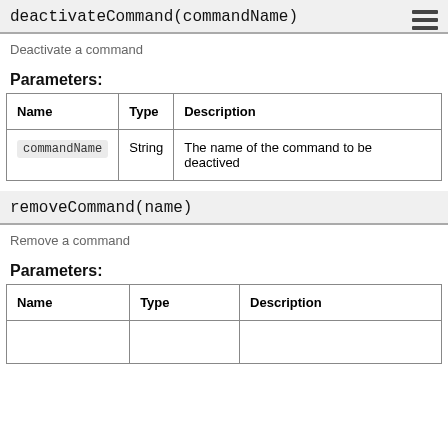deactivateCommand(commandName)
Deactivate a command
Parameters:
| Name | Type | Description |
| --- | --- | --- |
| commandName | String | The name of the command to be deactived |
removeCommand(name)
Remove a command
Parameters:
| Name | Type | Description |
| --- | --- | --- |
|  |